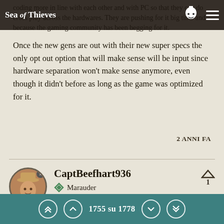Sea of Thieves
coding more in line with each other and with PC so that they can do cross play across the hardwares. They are pushing for it big time and because the gaming community has been begging for it.
Once the new gens are out with their new super specs the only opt out option that will make sense will be input since hardware separation won't make sense anymore, even though it didn't before as long as the game was optimized for it.
2 ANNI FA
CaptBeefhart936
Marauder
1755 su 1778